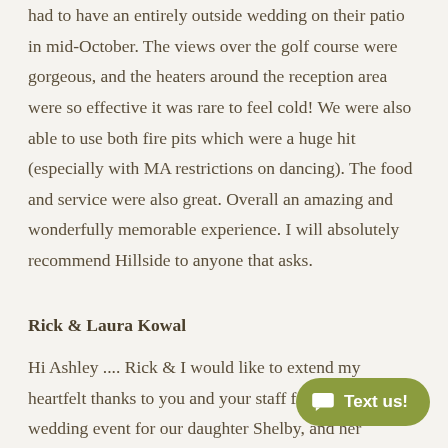had to have an entirely outside wedding on their patio in mid-October. The views over the golf course were gorgeous, and the heaters around the reception area were so effective it was rare to feel cold! We were also able to use both fire pits which were a huge hit (especially with MA restrictions on dancing). The food and service were also great. Overall an amazing and wonderfully memorable experience. I will absolutely recommend Hillside to anyone that asks.
Rick & Laura Kowal
Hi Ashley .... Rick & I would like to extend my heartfelt thanks to you and your staff for an outstanding wedding event for our daughter Shelby, and her